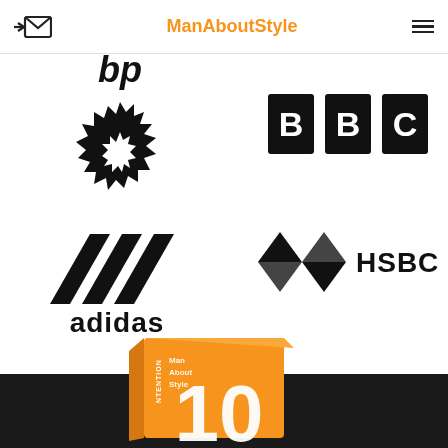ManAboutStyle
[Figure (logo): BP logo (black sunflower/starburst mark with 'bp' text above)]
[Figure (logo): BBC logo (three black squares each containing a white letter: B, B, C)]
[Figure (logo): Adidas logo (three diagonal stripes forming a mountain/chevron shape) with 'adidas' text below]
[Figure (logo): HSBC logo (red/black diamond hexagon mark) with 'HSBC' text]
[Figure (photo): Orange book/box with 'Man About Style' text and large white '10' numeral, partially visible at bottom]